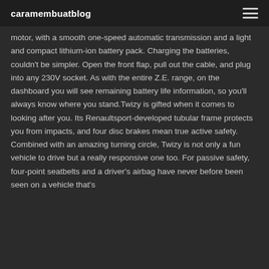caramembuatblog
motor, with a smooth one-speed automatic transmission and a light and compact lithium-ion battery pack. Charging the batteries, couldn't be simpler. Open the front flap, pull out the cable, and plug into any 230V socket. As with the entire Z.E. range, on the dashboard you will see remaining battery life information, so you'll always know where you stand.Twizy is gifted when it comes to looking after you. Its Renaultsport-developed tubular frame protects you from impacts, and four disc brakes mean true active safety. Combined with an amazing turning circle, Twizy is not only a fun vehicle to drive but a really responsive one too. For passive safety, four-point seatbelts and a driver's airbag have never before been seen on a vehicle that's